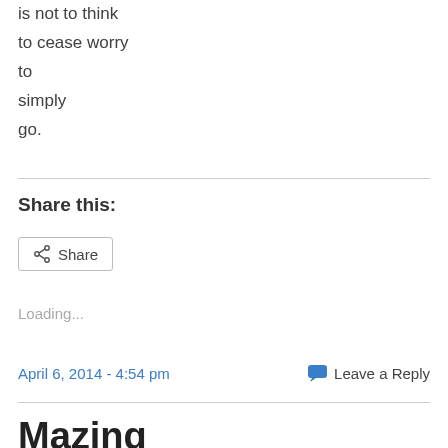is not to think
to cease worry
to
simply
go.
Share this:
[Figure (other): Share button with share icon]
Loading...
April 6, 2014 - 4:54 pm
Leave a Reply
Mazing